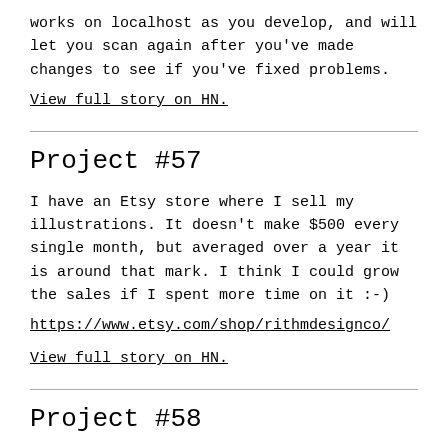works on localhost as you develop, and will let you scan again after you've made changes to see if you've fixed problems.
View full story on HN.
Project #57
I have an Etsy store where I sell my illustrations. It doesn't make $500 every single month, but averaged over a year it is around that mark. I think I could grow the sales if I spent more time on it :-)
https://www.etsy.com/shop/rithmdesignco/
View full story on HN.
Project #58